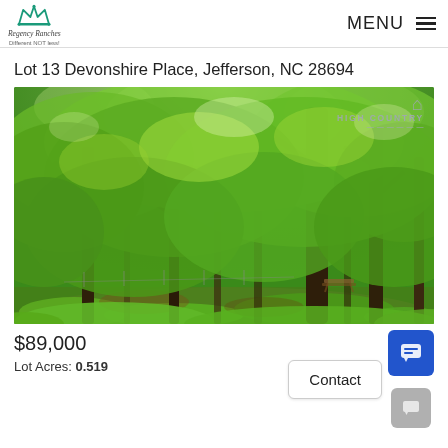Regency Ranches — MENU
Lot 13 Devonshire Place, Jefferson, NC 28694
[Figure (photo): Wooded lot with lush green deciduous trees and forest undergrowth in summer; a picnic table is visible in the background. High Country watermark in upper right.]
$89,000
Lot Acres: 0.519